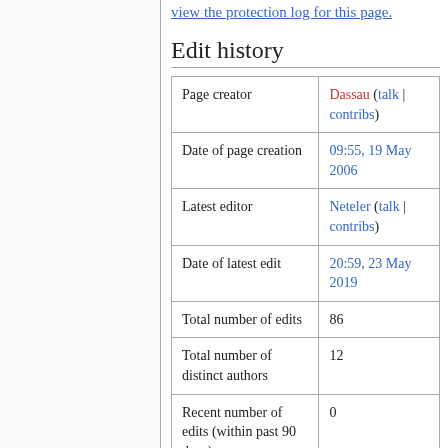view the protection log for this page.
Edit history
|  |  |
| --- | --- |
| Page creator | Dassau (talk | contribs) |
| Date of page creation | 09:55, 19 May 2006 |
| Latest editor | Neteler (talk | contribs) |
| Date of latest edit | 20:59, 23 May 2019 |
| Total number of edits | 86 |
| Total number of distinct authors | 12 |
| Recent number of edits (within past 90 days) | 0 |
| Recent number of |  |